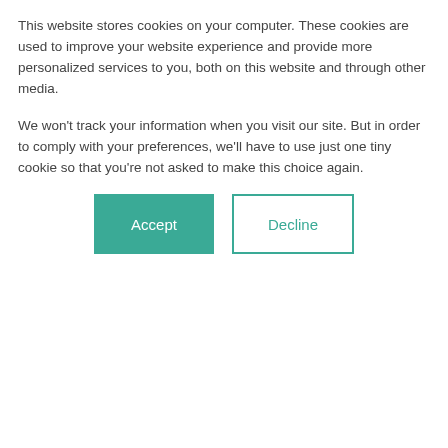This website stores cookies on your computer. These cookies are used to improve your website experience and provide more personalized services to you, both on this website and through other media.
We won't track your information when you visit our site. But in order to comply with your preferences, we'll have to use just one tiny cookie so that you're not asked to make this choice again.
Accept
Decline
Francisco Bay Area)